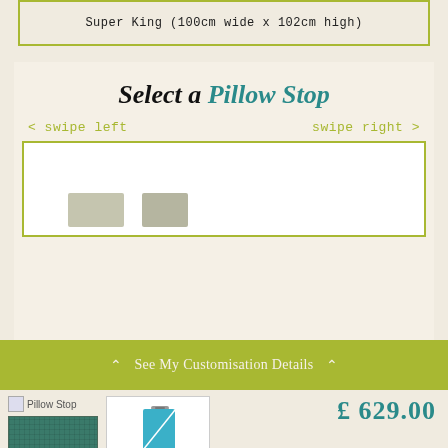Super King (100cm wide x 102cm high)
Select a Pillow Stop
< swipe left     swipe right >
See My Customisation Details
[Figure (photo): Pillow Stop product image with teal zipper closure]
£ 629.00
[Figure (photo): Teal fabric swatch with woven texture]